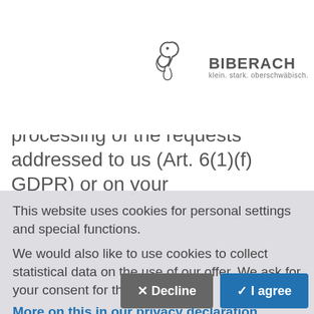[Figure (screenshot): Navigation header with blue menu button (hamburger icon + 'menu' text) on left, search icon with 'Search' text in center, and Biberach city logo on right]
legitimate interest in the effective processing of the requests addressed to us (Art. 6(1)(f) GDPR) or on your
This website uses cookies for personal settings and special functions.
We would also like to use cookies to collect statistical data on the use of our offer. We ask for your consent for this.
More on this in our privacy declaration.
✕ Decline
✓ I agree